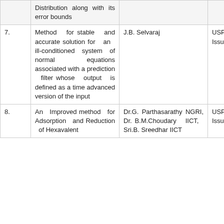| No. | Title | Authors | Patent |
| --- | --- | --- | --- |
|  | Distribution along with its error bounds |  |  |
| 7. | Method for stable and accurate solution for an ill-conditioned system of normal equations associated with a prediction filter whose output is defined as a time advanced version of the input | J.B. Selvaraj | USPa
vide
Issue
05-20 |
| 8. | An Improved method for Adsorption and Reduction of Hexavalent | Dr.G. Parthasarathy NGRI, Dr. B.M.Choudary IICT, Sri.B. Sreedhar IICT | USPa
vide
Issue
07-20 |